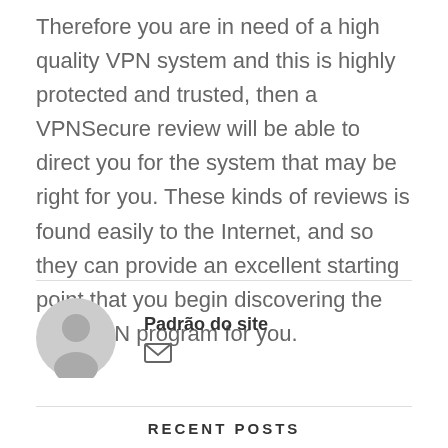Therefore you are in need of a high quality VPN system and this is highly protected and trusted, then a VPNSecure review will be able to direct you for the system that may be right for you. These kinds of reviews is found easily to the Internet, and so they can provide an excellent starting point that you begin discovering the right VPN program for you.
[Figure (illustration): User avatar icon — gray circle with a silhouette of a person]
Padrão do site
[Figure (illustration): Envelope/email icon]
RECENT POSTS